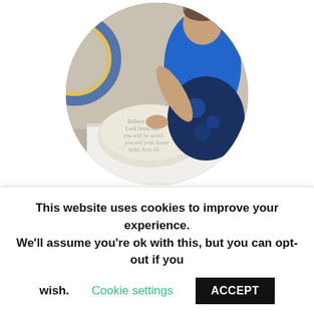[Figure (photo): Circular profile photo of Bonnie Hanni, a woman in a blue top and floral skirt, holding a decorative pillow with a Bible verse near a white table]
Bonnie Hanni
Custodian
Bonnie was born into a Christian Family in Wilson Borough, later moving with her family to Palmer
This website uses cookies to improve your experience. We'll assume you're ok with this, but you can opt-out if you wish. Cookie settings ACCEPT